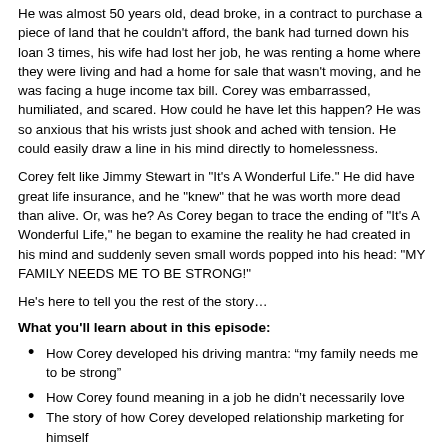He was almost 50 years old, dead broke, in a contract to purchase a piece of land that he couldn't afford, the bank had turned down his loan 3 times, his wife had lost her job, he was renting a home where they were living and had a home for sale that wasn't moving, and he was facing a huge income tax bill. Corey was embarrassed, humiliated, and scared. How could he have let this happen? He was so anxious that his wrists just shook and ached with tension. He could easily draw a line in his mind directly to homelessness.
Corey felt like Jimmy Stewart in "It's A Wonderful Life." He did have great life insurance, and he "knew" that he was worth more dead than alive. Or, was he? As Corey began to trace the ending of "It's A Wonderful Life," he began to examine the reality he had created in his mind and suddenly seven small words popped into his head: "MY FAMILY NEEDS ME TO BE STRONG!"
He's here to tell you the rest of the story…
What you'll learn about in this episode:
How Corey developed his driving mantra: “my family needs me to be strong”
How Corey found meaning in a job he didn’t necessarily love
The story of how Corey developed relationship marketing for himself
The inspiration behind Corey’s books
The power and importance of keeping your “why”
How Corey bounced back from a terrifying low point in his life